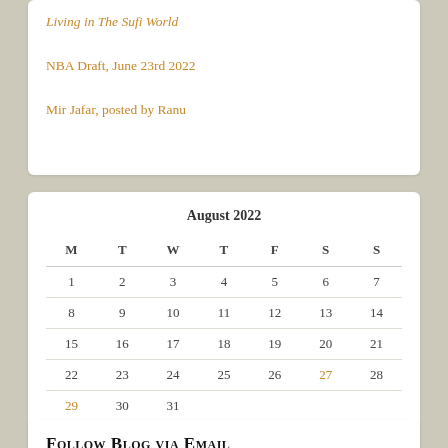Living in The Sufi World
NBA Draft, June 23rd 2022
Mir Jafar, posted by Ranu
| M | T | W | T | F | S | S |
| --- | --- | --- | --- | --- | --- | --- |
| 1 | 2 | 3 | 4 | 5 | 6 | 7 |
| 8 | 9 | 10 | 11 | 12 | 13 | 14 |
| 15 | 16 | 17 | 18 | 19 | 20 | 21 |
| 22 | 23 | 24 | 25 | 26 | 27 | 28 |
| 29 | 30 | 31 |  |  |  |  |
« Jul
Follow Blog via Email